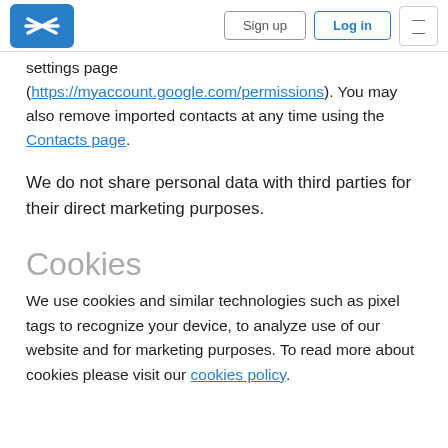Sign up | Log in | Menu
settings page (https://myaccount.google.com/permissions). You may also remove imported contacts at any time using the Contacts page.
We do not share personal data with third parties for their direct marketing purposes.
Cookies
We use cookies and similar technologies such as pixel tags to recognize your device, to analyze use of our website and for marketing purposes. To read more about cookies please visit our cookies policy.